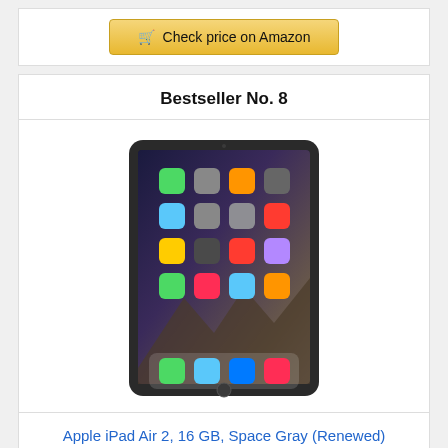[Figure (other): Check price on Amazon button at top]
Bestseller No. 8
[Figure (photo): Apple iPad Air 2 in Space Gray showing home screen with app icons]
Apple iPad Air 2, 16 GB, Space Gray (Renewed)
[Figure (other): Check price on Amazon button at bottom]